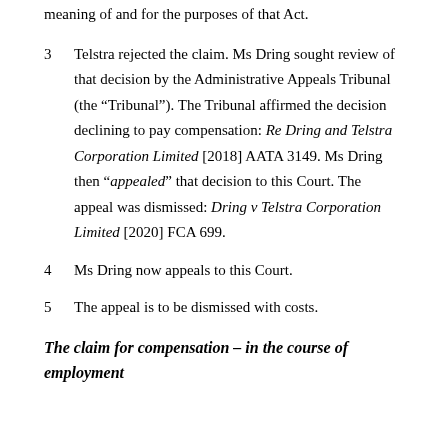meaning of and for the purposes of that Act.
3   Telstra rejected the claim. Ms Dring sought review of that decision by the Administrative Appeals Tribunal (the “Tribunal”). The Tribunal affirmed the decision declining to pay compensation: Re Dring and Telstra Corporation Limited [2018] AATA 3149. Ms Dring then “appealed” that decision to this Court. The appeal was dismissed: Dring v Telstra Corporation Limited [2020] FCA 699.
4   Ms Dring now appeals to this Court.
5   The appeal is to be dismissed with costs.
The claim for compensation – in the course of employment